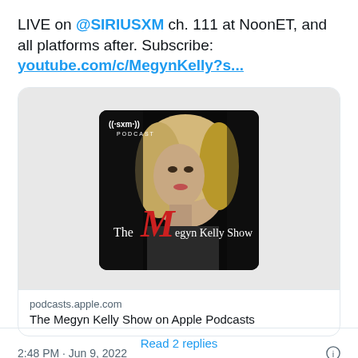LIVE on @SIRIUSXM ch. 111 at NoonET, and all platforms after. Subscribe: youtube.com/c/MegynKelly?s...
[Figure (photo): The Megyn Kelly Show podcast cover art on SXM Podcast — black background with photo of Megyn Kelly with blonde hair, red M logo]
podcasts.apple.com
The Megyn Kelly Show on Apple Podcasts
2:48 PM · Jun 9, 2022
♡ 31  Reply  Copy link
Read 2 replies